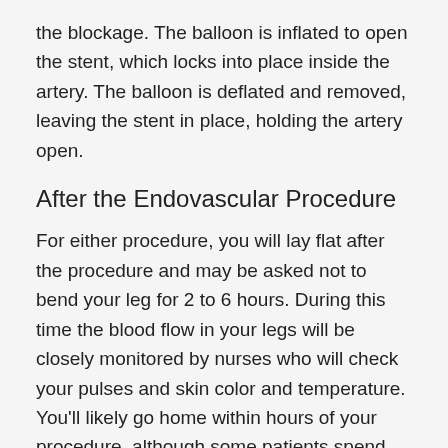the blockage. The balloon is inflated to open the stent, which locks into place inside the artery. The balloon is deflated and removed, leaving the stent in place, holding the artery open.
After the Endovascular Procedure
For either procedure, you will lay flat after the procedure and may be asked not to bend your leg for 2 to 6 hours. During this time the blood flow in your legs will be closely monitored by nurses who will check your pulses and skin color and temperature. You'll likely go home within hours of your procedure, although some patients spend the night in the hospital. Expect to have some swelling and bruising around the puncture site at the groin, and possibly spreading across your thigh and abdomen. This is normal.